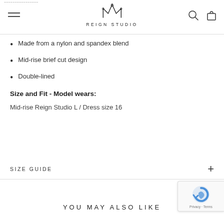REIGN STUDIO
Made from a nylon and spandex blend
Mid-rise brief cut design
Double-lined
Size and Fit - Model wears:
Mid-rise Reign Studio L / Dress size 16
SIZE GUIDE
YOU MAY ALSO LIKE